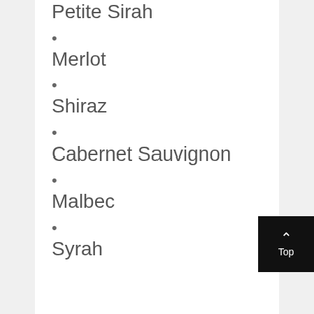Petite Sirah
Merlot
Shiraz
Cabernet Sauvignon
Malbec
Syrah